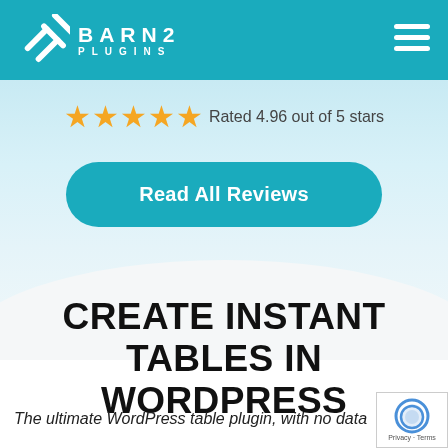BARN2 PLUGINS
Rated 4.96 out of 5 stars
Read All Reviews
CREATE INSTANT TABLES IN WORDPRESS
The ultimate WordPress table plugin, with no data